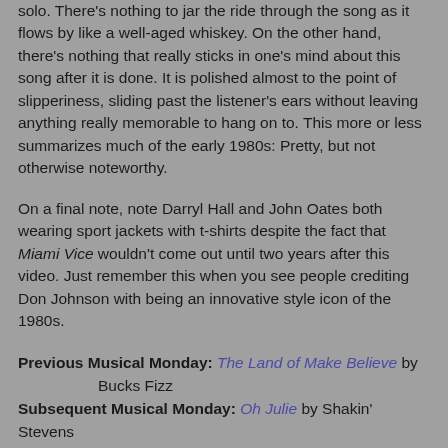solo. There's nothing to jar the ride through the song as it flows by like a well-aged whiskey. On the other hand, there's nothing that really sticks in one's mind about this song after it is done. It is polished almost to the point of slipperiness, sliding past the listener's ears without leaving anything really memorable to hang on to. This more or less summarizes much of the early 1980s: Pretty, but not otherwise noteworthy.
On a final note, note Darryl Hall and John Oates both wearing sport jackets with t-shirts despite the fact that Miami Vice wouldn't come out until two years after this video. Just remember this when you see people crediting Don Johnson with being an innovative style icon of the 1980s.
Previous Musical Monday: The Land of Make Believe by Bucks Fizz
Subsequent Musical Monday: Oh Julie by Shakin' Stevens
Previous #1 on the Billboard Hot 100: Physical by Olivia Newton-John
Subsequent #1 on the Billboard Hot 100: Centerfold by